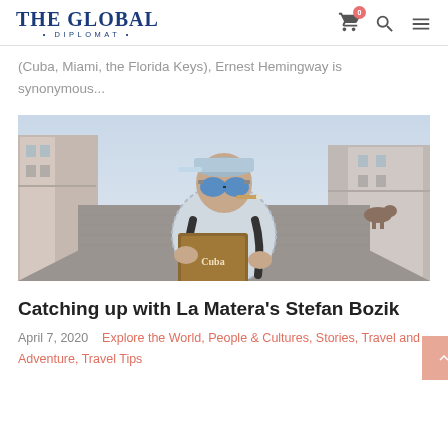THE GLOBAL DIPLOMAT
(Cuba, Miami, the Florida Keys), Ernest Hemingway is synonymous...
[Figure (photo): Man wearing a cap and blue mirrored sunglasses, smoking a cigar, reading a book on a cobblestone street]
Catching up with La Matera's Stefan Bozik
April 7, 2020   Explore the World, People & Cultures, Stories, Travel and Adventure, Travel Tips